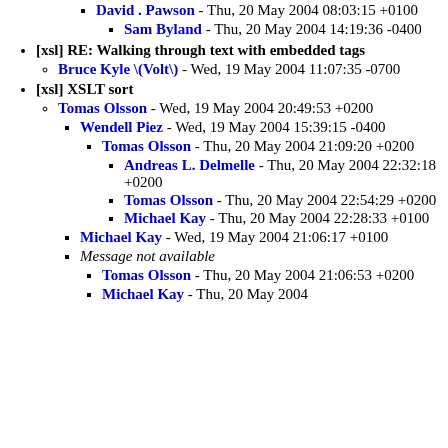David . Pawson - Thu, 20 May 2004 08:03:15 +0100
Sam Byland - Thu, 20 May 2004 14:19:36 -0400
[xsl] RE: Walking through text with embedded tags
Bruce Kyle \(Volt\) - Wed, 19 May 2004 11:07:35 -0700
[xsl] XSLT sort
Tomas Olsson - Wed, 19 May 2004 20:49:53 +0200
Wendell Piez - Wed, 19 May 2004 15:39:15 -0400
Tomas Olsson - Thu, 20 May 2004 21:09:20 +0200
Andreas L. Delmelle - Thu, 20 May 2004 22:32:18 +0200
Tomas Olsson - Thu, 20 May 2004 22:54:29 +0200
Michael Kay - Thu, 20 May 2004 22:28:33 +0100
Michael Kay - Wed, 19 May 2004 21:06:17 +0100
Message not available
Tomas Olsson - Thu, 20 May 2004 21:06:53 +0200
Michael Kay - Thu, 20 May 2004